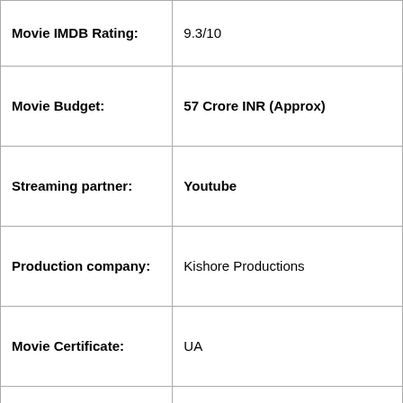| Field | Value |
| --- | --- |
| Movie IMDB Rating: | 9.3/10 |
| Movie Budget: | 57 Crore INR (Approx) |
| Streaming partner: | Youtube |
| Production company: | Kishore Productions |
| Movie Certificate: | UA |
| Movie Language: | Hindi, Kannada, Telugu, Tamil, Malayalam |
| Movie Release Date: | March 17, 2022 |